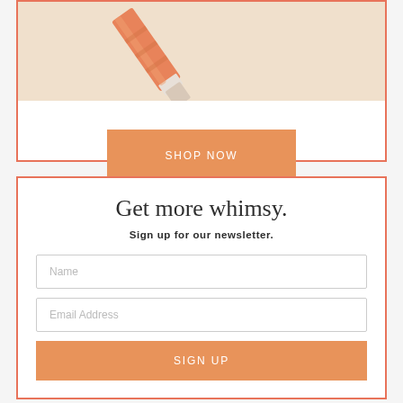[Figure (photo): Product image area showing a brush/makeup tool with orange and white handle against a beige background]
SHOP NOW
Get more whimsy.
Sign up for our newsletter.
Name
Email Address
SIGN UP